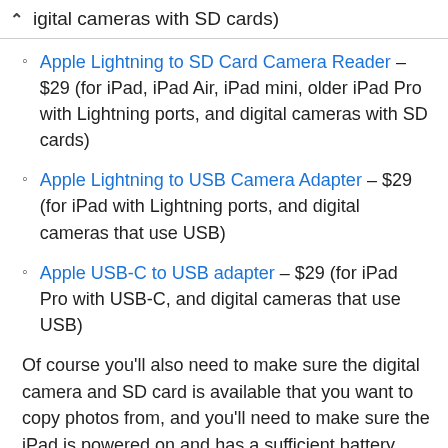igital cameras with SD cards)
Apple Lightning to SD Card Camera Reader – $29 (for iPad, iPad Air, iPad mini, older iPad Pro with Lightning ports, and digital cameras with SD cards)
Apple Lightning to USB Camera Adapter – $29 (for iPad with Lightning ports, and digital cameras that use USB)
Apple USB-C to USB adapter – $29 (for iPad Pro with USB-C, and digital cameras that use USB)
Of course you’ll also need to make sure the digital camera and SD card is available that you want to copy photos from, and you’ll need to make sure the iPad is powered on and has a sufficient battery charge.
Remember you must have the proper adapter for the